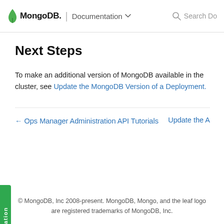MongoDB | Documentation  Search Do
Next Steps
To make an additional version of MongoDB available in the cluster, see Update the MongoDB Version of a Deployment.
← Ops Manager Administration API Tutorials    Update the A
© MongoDB, Inc 2008-present. MongoDB, Mongo, and the leaf logo are registered trademarks of MongoDB, Inc.